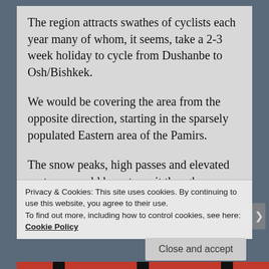The region attracts swathes of cyclists each year many of whom, it seems, take a 2-3 week holiday to cycle from Dushanbe to Osh/Bishkek.
We would be covering the area from the opposite direction, starting in the sparsely populated Eastern area of the Pamirs.
The snow peaks, high passes and elevated pastures would have to wait though as my achilles wasn't feeling any better even after a rest day. After managing some very slow google searching via our [Tajik SIM…]
Privacy & Cookies: This site uses cookies. By continuing to use this website, you agree to their use.
To find out more, including how to control cookies, see here: Cookie Policy
Close and accept